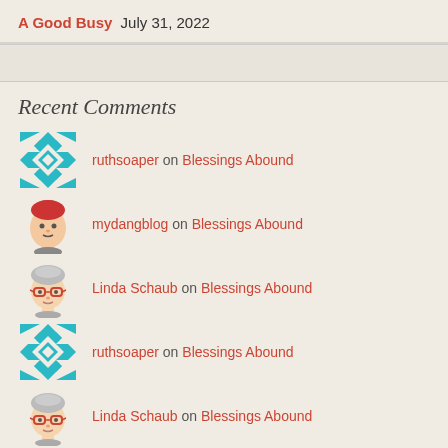A Good Busy July 31, 2022
Recent Comments
ruthsoaper on Blessings Abound
mydangblog on Blessings Abound
Linda Schaub on Blessings Abound
ruthsoaper on Blessings Abound
Linda Schaub on Blessings Abound